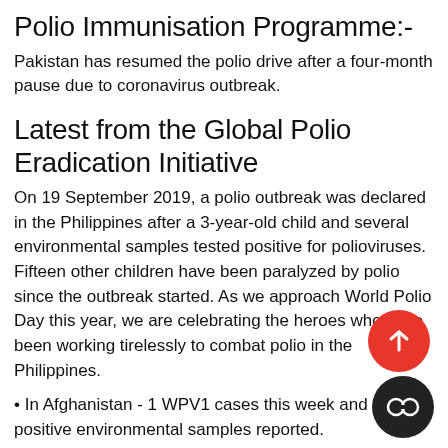Polio Immunisation Programme:-
Pakistan has resumed the polio drive after a four-month pause due to coronavirus outbreak.
Latest from the Global Polio Eradication Initiative
On 19 September 2019, a polio outbreak was declared in the Philippines after a 3-year-old child and several environmental samples tested positive for polioviruses. Fifteen other children have been paralyzed by polio since the outbreak started. As we approach World Polio Day this year, we are celebrating the heroes who have been working tirelessly to combat polio in the Philippines.
• In Afghanistan - 1 WPV1 cases this week and 2 cVD positive environmental samples reported.
• In Pakistan - 2 WPV1 case were reported this week and 0